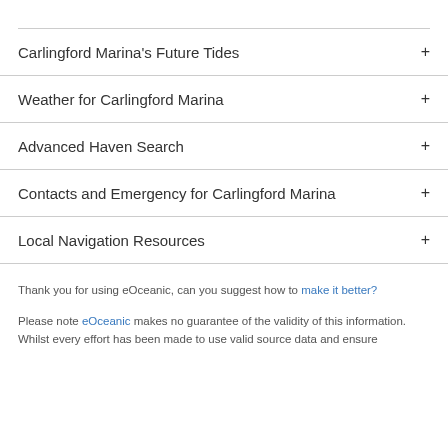Carlingford Marina's Future Tides +
Weather for Carlingford Marina +
Advanced Haven Search +
Contacts and Emergency for Carlingford Marina +
Local Navigation Resources +
Thank you for using eOceanic, can you suggest how to make it better?
Please note eOceanic makes no guarantee of the validity of this information. Whilst every effort has been made to use valid source data and ensure